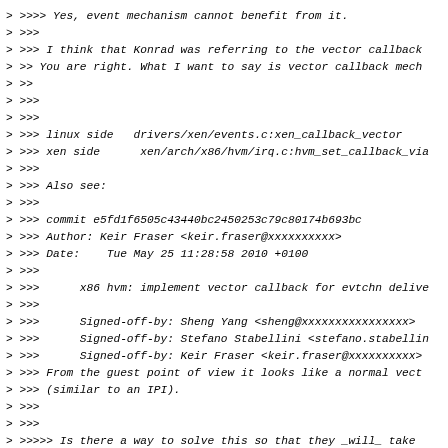> >>>> Yes, event mechanism cannot benefit from it.
> >>>
> >>> I think that Konrad was referring to the vector callback
> >> You are right. What I want to say is vector callback mech
> >>
> >>>
> >>>
> >>> linux side  drivers/xen/events.c:xen_callback_vector
> >>> xen side     xen/arch/x86/hvm/irq.c:hvm_set_callback_via
> >>>
> >>> Also see:
> >>>
> >>> commit e5fd1f6505c43440bc2450253c79c80174b693bc
> >>> Author: Keir Fraser <keir.fraser@xxxxxxxxxx>
> >>> Date:   Tue May 25 11:28:58 2010 +0100
> >>>
> >>>     x86 hvm: implement vector callback for evtchn delive
> >>>
> >>>     Signed-off-by: Sheng Yang <sheng@xxxxxxxxxxxxxxxx>
> >>>     Signed-off-by: Stefano Stabellini <stefano.stabellin
> >>>     Signed-off-by: Keir Fraser <keir.fraser@xxxxxxxxxx>
> >>> From the guest point of view it looks like a normal vect
> >>> (similar to an IPI).
> >>>
> >>>
> >>>>> Is there a way to solve this so that they _will_ take